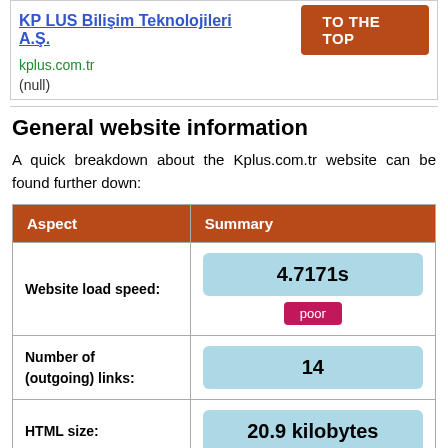KP LUS Bilişim Teknolojileri A.Ş. | kplus.com.tr | (null) | TO THE TOP
General website information
A quick breakdown about the Kplus.com.tr website can be found further down:
| Aspect | Summary |
| --- | --- |
| Website load speed: | 4.7171s poor |
| Number of (outgoing) links: | 14 |
| HTML size: | 20.9 kilobytes |